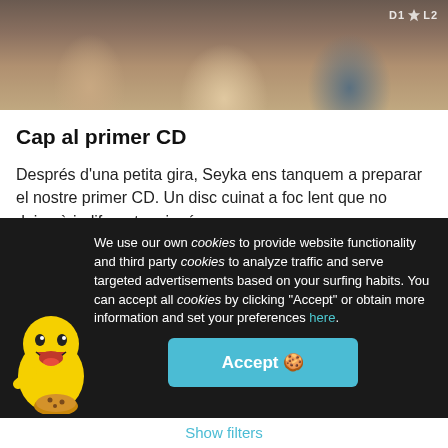[Figure (photo): Photo of a music band (three people) posing together, with a watermark reading D1 [star] L2 in the top right corner]
Cap al primer CD
Després d'una petita gira, Seyka ens tanquem a preparar el nostre primer CD. Un disc cuinat a foc lent que no deixarà indiferent a ningú
Reggae and Ska
Project crowdfunded on January 15, 2022 🏠
We use our own cookies to provide website functionality and third party cookies to analyze traffic and serve targeted advertisements based on your surfing habits. You can accept all cookies by clicking "Accept" or obtain more information and set your preferences here.
Accept
Show filters